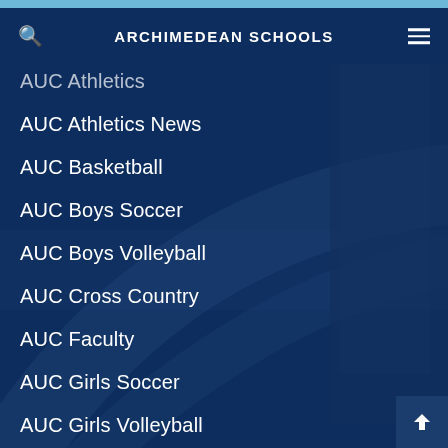ARCHIMEDEAN SCHOOLS
AUC Athletics
AUC Athletics News
AUC Basketball
AUC Boys Soccer
AUC Boys Volleyball
AUC Cross Country
AUC Faculty
AUC Girls Soccer
AUC Girls Volleyball
AUC Guidance
AUC News
AUC Reading Lists
AUC Resources